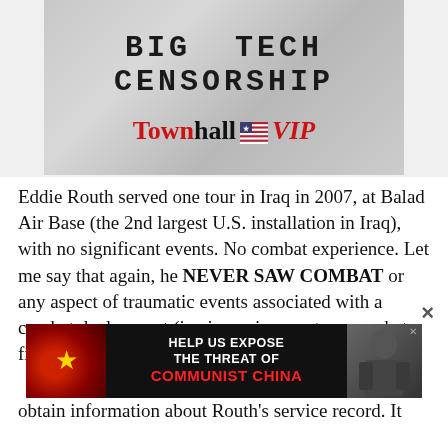[Figure (illustration): Townhall VIP banner advertisement with 'BIG TECH CENSORSHIP' in large pixelated letters on a gray stone texture background, with the Townhall VIP logo below in red and black with a US flag icon.]
Eddie Routh served one tour in Iraq in 2007, at Balad Air Base (the 2nd largest U.S. installation in Iraq), with no significant events. No combat experience. Let me say that again, he NEVER SAW COMBAT or any aspect of traumatic events associated with a combat deployment (i.e. incoming mortar or rocket fire). He never left the base, EVER.
[Figure (advertisement): Ad banner: 'HELP US EXPOSE THE THREAT OF COMMUNIST CHINA' with red imagery of China flag/Xi Jinping on dark background.]
obtain information about Routh's service record. It